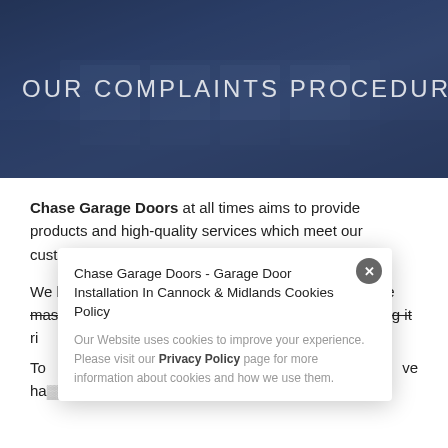[Figure (photo): Hero banner with a building/office with large windows in the background, overlaid with a dark blue semi-transparent gradient]
OUR COMPLAINTS PROCEDURE
Chase Garage Doors at all times aims to provide products and high-quality services which meet our customer's expectations and needs.
We believe after 30 plus years in this industry, we have mastered this skill most of the time. If we are not getting it rig... ta...
To... ve ha...
[Figure (screenshot): Cookie consent popup overlay: title 'Chase Garage Doors - Garage Door Installation In Cannock & Midlands Cookies Policy', body text about cookies policy with Privacy Policy link, and a close button]